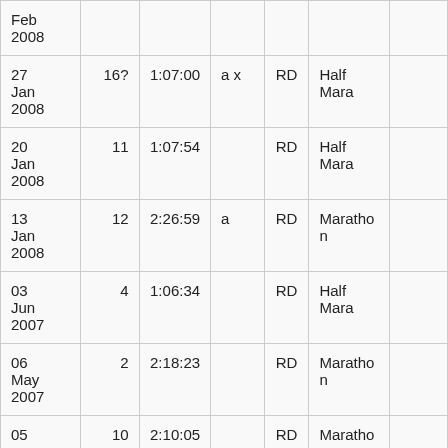| Feb 2008 |  |  |  |  |  |  |
| 27 Jan 2008 | 16? | 1:07:00 | a x | RD | Half Mara |  |
| 20 Jan 2008 | 11 | 1:07:54 |  | RD | Half Mara |  |
| 13 Jan 2008 | 12 | 2:26:59 | a | RD | Marathon |  |
| 03 Jun 2007 | 4 | 1:06:34 |  | RD | Half Mara |  |
| 06 May 2007 | 2 | 2:18:23 |  | RD | Marathon |  |
| 05 ... | 10 ... | 2:10:05 ... |  | RD | Marathon |  |